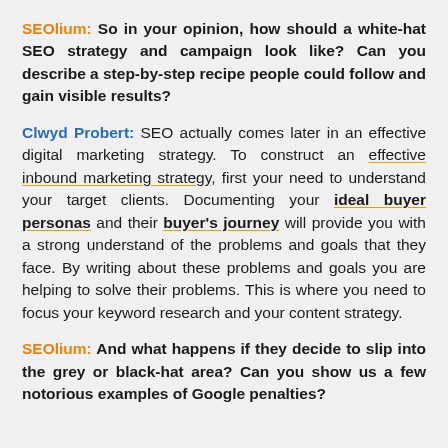SEOlium: So in your opinion, how should a white-hat SEO strategy and campaign look like? Can you describe a step-by-step recipe people could follow and gain visible results?
Clwyd Probert: SEO actually comes later in an effective digital marketing strategy. To construct an effective inbound marketing strategy, first your need to understand your target clients. Documenting your ideal buyer personas and their buyer's journey will provide you with a strong understand of the problems and goals that they face. By writing about these problems and goals you are helping to solve their problems. This is where you need to focus your keyword research and your content strategy.
SEOlium: And what happens if they decide to slip into the grey or black-hat area? Can you show us a few notorious examples of Google penalties?